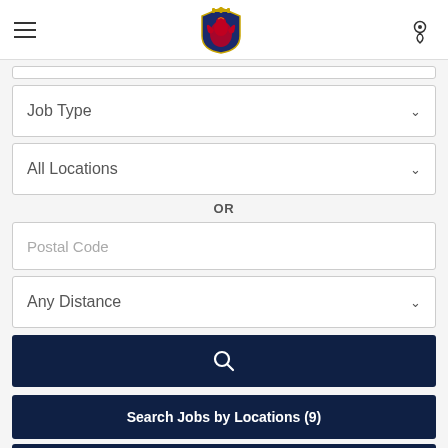Scania navigation header with hamburger menu, Scania logo, and location icon
Job Type
All Locations
OR
Postal Code
Any Distance
[Figure (other): Search button (magnifying glass icon) on dark navy background]
Search Jobs by Locations (9)
Search Jobs by Fields (15)